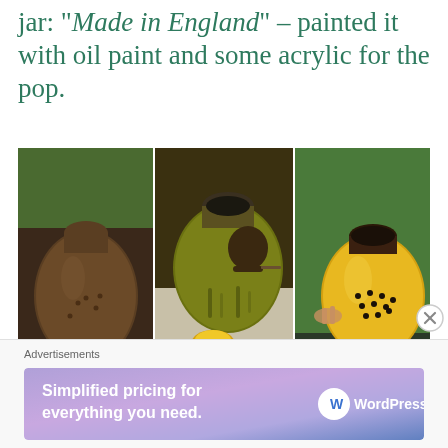jar: "Made in England" – painted it with oil paint and some acrylic for the pop.
[Figure (photo): Three-panel photo collage showing the process of painting a large clay jar: left panel shows the original dark brown clay jar outdoors, middle panel shows the jar being painted yellow-green with paint dripping, with a cup of yellow paint visible below, right panel shows a child adding black dot details to the finished bright yellow jar against a green wall.]
Advertisements
[Figure (screenshot): WordPress.com advertisement banner with purple-pink gradient background. Text reads 'Simplified pricing for everything you need.' with WordPress.com logo on the right.]